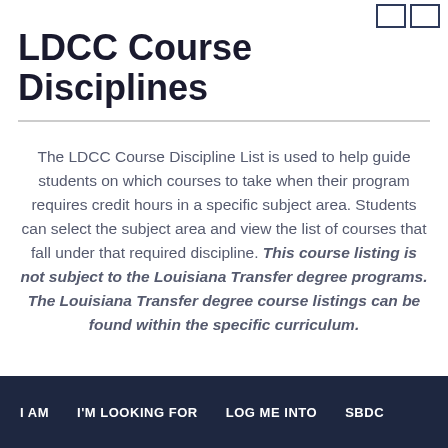LDCC Course Disciplines
The LDCC Course Discipline List is used to help guide students on which courses to take when their program requires credit hours in a specific subject area. Students can select the subject area and view the list of courses that fall under that required discipline. This course listing is not subject to the Louisiana Transfer degree programs. The Louisiana Transfer degree course listings can be found within the specific curriculum.
I AM   I'M LOOKING FOR   LOG ME INTO   SBDC